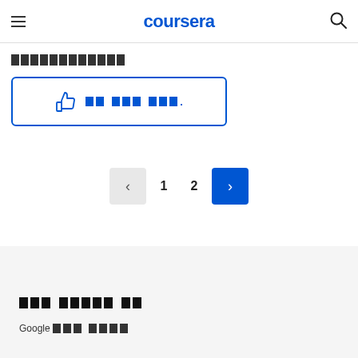coursera
░░░░░░░░░░░░
[Figure (other): Blue bordered button with thumbs-up icon and redacted blue text label]
[Figure (other): Pagination controls: left arrow (grey), page 1, page 2, right arrow (blue)]
░░░ ░░░░░ ░░  Google ░░░ ░░░░